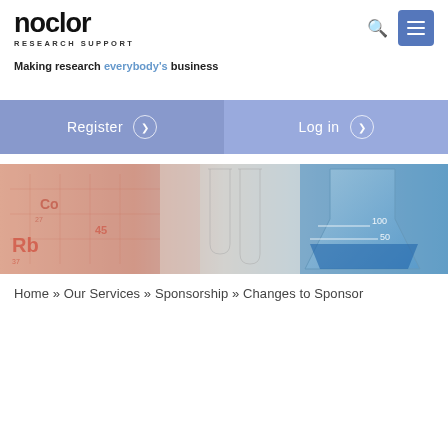noclor RESEARCH SUPPORT
Making research everybody's business
[Figure (other): Two navigation buttons: Register and Log in with blue background]
[Figure (photo): Hero banner showing a periodic table with pink/orange tones on left and a blue laboratory flask/beaker on the right]
Home » Our Services » Sponsorship » Changes to Sponsor